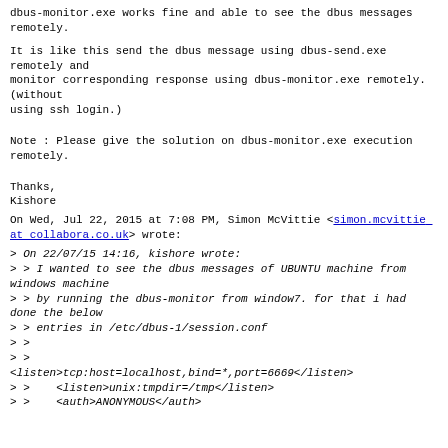dbus-monitor.exe works fine and able to see the dbus messages remotely.
It is like this send the dbus message using dbus-send.exe remotely and
monitor corresponding response using dbus-monitor.exe remotely. (without
using ssh login.)
Note : Please give the solution on dbus-monitor.exe execution remotely.
Thanks,
Kishore
On Wed, Jul 22, 2015 at 7:08 PM, Simon McVittie <simon.mcvittie at collabora.co.uk> wrote:
> On 22/07/15 14:16, kishore wrote:
> > I wanted to see the dbus messages of UBUNTU machine from windows machine
> > by running the dbus-monitor from window7. for that i had done the below
> > entries in /etc/dbus-1/session.conf
> >
> >
<listen>tcp:host=localhost,bind=*,port=6669</listen>
> >    <listen>unix:tmpdir=/tmp</listen>
> >    <auth>ANONYMOUS</auth>